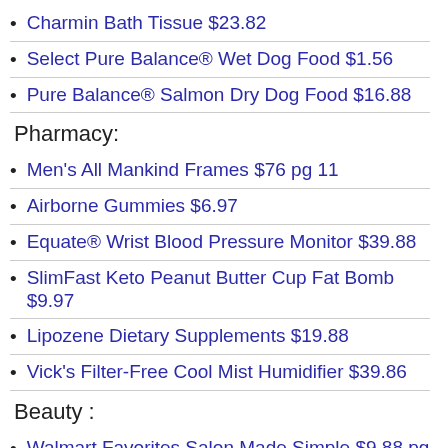Charmin Bath Tissue $23.82
Select Pure Balance® Wet Dog Food $1.56
Pure Balance® Salmon Dry Dog Food $16.88
Pharmacy:
Men's All Mankind Frames $76 pg 11
Airborne Gummies $6.97
Equate® Wrist Blood Pressure Monitor $39.88
SlimFast Keto Peanut Butter Cup Fat Bomb $9.97
Lipozene Dietary Supplements $19.88
Vick's Filter-Free Cool Mist Humidifier $39.86
Beauty :
Walmart Favorites Salon Made Simple $9.88 pg 12